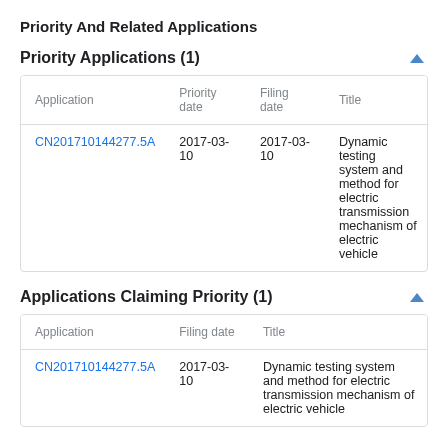Priority And Related Applications
Priority Applications (1)
| Application | Priority date | Filing date | Title |
| --- | --- | --- | --- |
| CN201710144277.5A | 2017-03-10 | 2017-03-10 | Dynamic testing system and method for electric transmission mechanism of electric vehicle |
Applications Claiming Priority (1)
| Application | Filing date | Title |
| --- | --- | --- |
| CN201710144277.5A | 2017-03-10 | Dynamic testing system and method for electric transmission mechanism of electric vehicle |